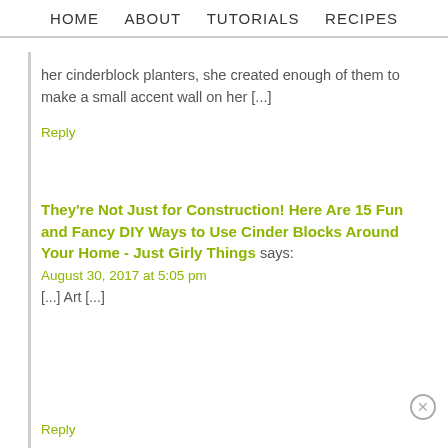HOME   ABOUT   TUTORIALS   RECIPES
her cinderblock planters, she created enough of them to make a small accent wall on her [...]
Reply
They're Not Just for Construction! Here Are 15 Fun and Fancy DIY Ways to Use Cinder Blocks Around Your Home - Just Girly Things says:
August 30, 2017 at 5:05 pm
[...] Art [...]
Reply